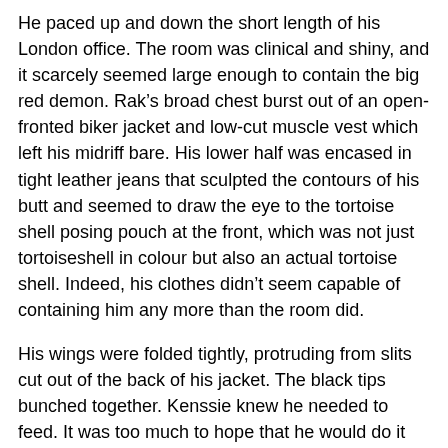He paced up and down the short length of his London office. The room was clinical and shiny, and it scarcely seemed large enough to contain the big red demon. Rak's broad chest burst out of an open-fronted biker jacket and low-cut muscle vest which left his midriff bare. His lower half was encased in tight leather jeans that sculpted the contours of his butt and seemed to draw the eye to the tortoise shell posing pouch at the front, which was not just tortoiseshell in colour but also an actual tortoise shell. Indeed, his clothes didn't seem capable of containing him any more than the room did.
His wings were folded tightly, protruding from slits cut out of the back of his jacket. The black tips bunched together. Kenssie knew he needed to feed. It was too much to hope that he would do it alone, and give her a chance to search for the book.
“A new company has set up five doors down,” Rak said. “Find out if they’re ripe for picking, and do your thing.”
“You want me to do that hoax we practiced last week?”